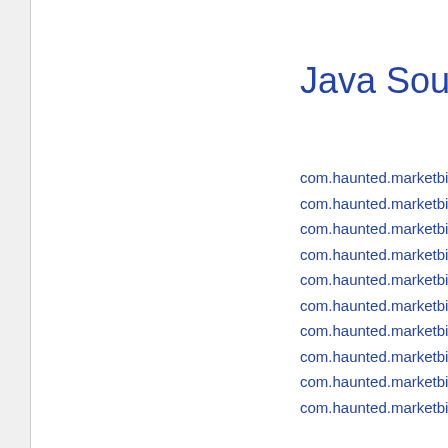Java Source C
com.haunted.marketbin.IMar
com.haunted.marketbin.Mark
com.haunted.marketbin.Mark
com.haunted.marketbin.Mark
com.haunted.marketbin.Mark
com.haunted.marketbin.sam
com.haunted.marketbin.sam
com.haunted.marketbin.sam
com.haunted.marketbin.sam
com.haunted.marketbin.sam